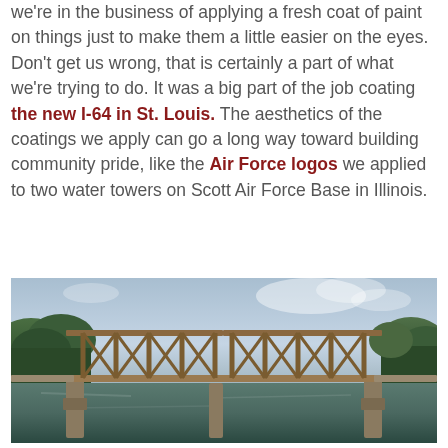we're in the business of applying a fresh coat of paint on things just to make them a little easier on the eyes. Don't get us wrong, that is certainly a part of what we're trying to do. It was a big part of the job coating the new I-64 in St. Louis. The aesthetics of the coatings we apply can go a long way toward building community pride, like the Air Force logos we applied to two water towers on Scott Air Force Base in Illinois.
[Figure (photo): Photograph of an old steel truss bridge spanning a river, with green trees on both banks and a cloudy sky. The bridge structure is rusty brown steel with an X-truss design.]